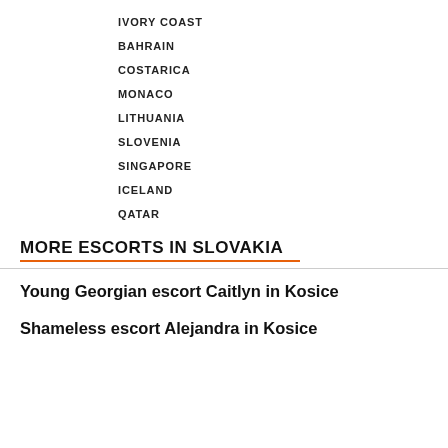IVORY COAST
BAHRAIN
COSTARICA
MONACO
LITHUANIA
SLOVENIA
SINGAPORE
ICELAND
QATAR
MORE ESCORTS IN SLOVAKIA
Young Georgian escort Caitlyn in Kosice
Shameless escort Alejandra in Kosice